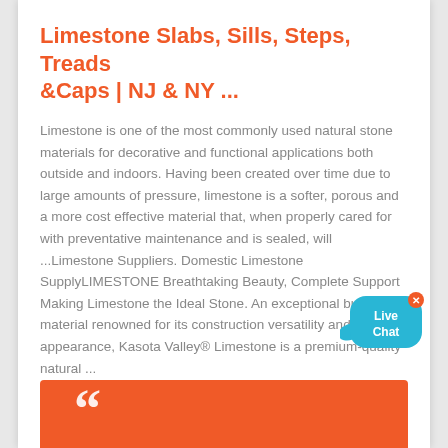Limestone Slabs, Sills, Steps, Treads &Caps | NJ & NY ...
Limestone is one of the most commonly used natural stone materials for decorative and functional applications both outside and indoors. Having been created over time due to large amounts of pressure, limestone is a softer, porous and a more cost effective material that, when properly cared for with preventative maintenance and is sealed, will ...Limestone Suppliers. Domestic Limestone SupplyLIMESTONE Breathtaking Beauty, Complete Support Making Limestone the Ideal Stone. An exceptional building material renowned for its construction versatility and beautiful appearance, Kasota Valley® Limestone is a premium-quality natural ...
[Figure (illustration): Live Chat speech bubble widget — a cyan/blue rounded speech bubble with 'Live Chat' text in white, an 'x' close button at top right, and a small fish/cursor tail on the left side.]
[Figure (illustration): Orange banner block at the bottom of the page with a large white opening double-quotation mark (curly quotes).]